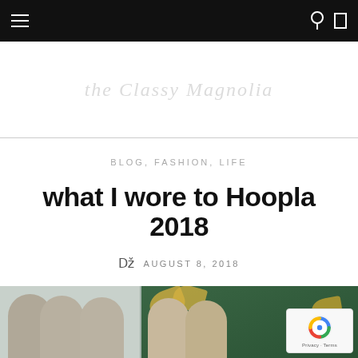Navigation bar with hamburger menu, search icon, and cart icon
[Figure (illustration): Faded italic script watermark of blog site name across white background area]
BLOG, FASHION, LIFE
what I wore to Hoopla 2018
AUGUST 8, 2018
[Figure (photo): Four women with long brown/blonde hair posing together, some in front of a green floral background]